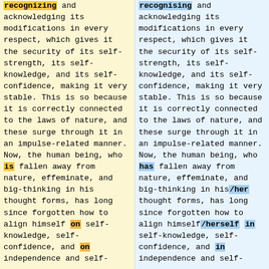recognizing and acknowledging its modifications in every respect, which gives it the security of its self-strength, its self-knowledge, and its self-confidence, making it very stable. This is so because it is correctly connected to the laws of nature, and these surge through it in an impulse-related manner. Now, the human being, who is fallen away from nature, effeminate, and big-thinking in his thought forms, has long since forgotten how to align himself on self-knowledge, self-confidence, and on independence and self-
recognising and acknowledging its modifications in every respect, which gives it the security of its self-strength, its self-knowledge, and its self-confidence, making it very stable. This is so because it is correctly connected to the laws of nature, and these surge through it in an impulse-related manner. Now, the human being, who has fallen away from nature, effeminate, and big-thinking in his/her thought forms, has long since forgotten how to align himself/herself in self-knowledge, self-confidence, and in independence and self-